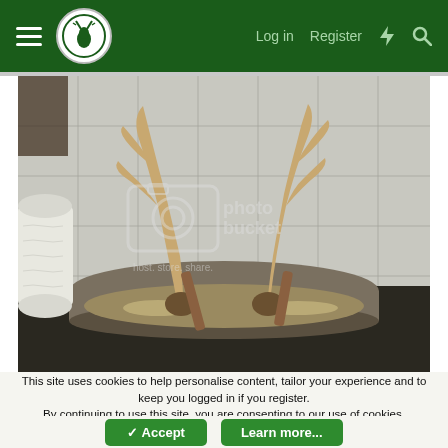Log in  Register
[Figure (photo): Deer antlers soaking in a large pot of liquid on a stove, with a paper towel roll visible on the left. A Photobucket watermark is overlaid on the image. White tile wall in background.]
This site uses cookies to help personalise content, tailor your experience and to keep you logged in if you register. By continuing to use this site, you are consenting to our use of cookies.
Accept  Learn more...